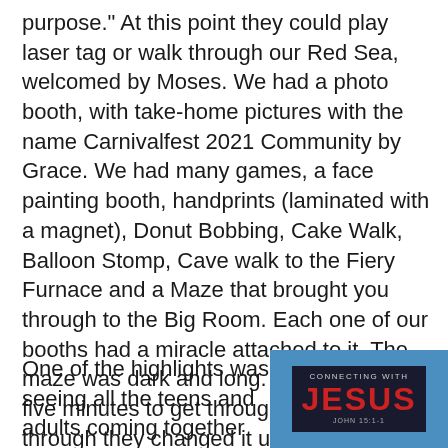purpose." At this point they could play laser tag or walk through our Red Sea, welcomed by Moses. We had a photo booth, with take-home pictures with the name Carnivalfest 2021 Community by Grace. We had many games, a face painting booth, handprints (laminated with a magnet), Donut Bobbing, Cake Walk, Balloon Stomp, Cave walk to the Fiery Furnace and a Maze that brought you through to the Big Room. Each one of our booths had a miracle attached to it. The maze was dark and long. It took a good five minutes to get through it, and halfway through they changed it up. Everyone had a great time.
One of the highlights was seeing all the teens and adults coming together
[Figure (photo): A sign on a blue background reading 'CONNECTING WITH JESUS' with a Bible verse reference John 15:1-1]